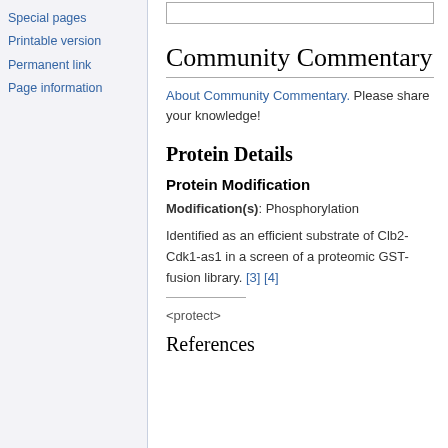Special pages
Printable version
Permanent link
Page information
Community Commentary
About Community Commentary. Please share your knowledge!
Protein Details
Protein Modification
Modification(s): Phosphorylation
Identified as an efficient substrate of Clb2-Cdk1-as1 in a screen of a proteomic GST-fusion library. [3] [4]
<protect>
References